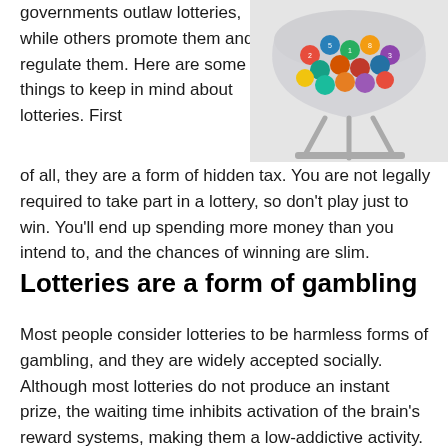governments outlaw lotteries, while others promote them and regulate them. Here are some things to keep in mind about lotteries. First of all, they are a form of hidden tax. You are not legally required to take part in a lottery, so don't play just to win. You'll end up spending more money than you intend to, and the chances of winning are slim.
[Figure (photo): A lottery ball machine containing colorful numbered balls]
Lotteries are a form of gambling
Most people consider lotteries to be harmless forms of gambling, and they are widely accepted socially. Although most lotteries do not produce an instant prize, the waiting time inhibits activation of the brain's reward systems, making them a low-addictive activity. In fact, some studies suggest that lottery games are more effective than others. Despite